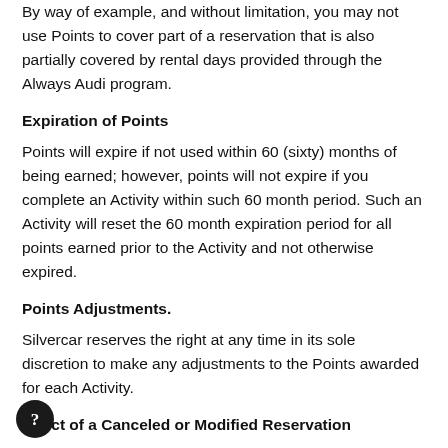By way of example, and without limitation, you may not use Points to cover part of a reservation that is also partially covered by rental days provided through the Always Audi program.
Expiration of Points
Points will expire if not used within 60 (sixty) months of being earned; however, points will not expire if you complete an Activity within such 60 month period. Such an Activity will reset the 60 month expiration period for all points earned prior to the Activity and not otherwise expired.
Points Adjustments.
Silvercar reserves the right at any time in its sole discretion to make any adjustments to the Points awarded for each Activity.
Effect of a Canceled or Modified Reservation
You will not earn Points for a cancelled or incomplete